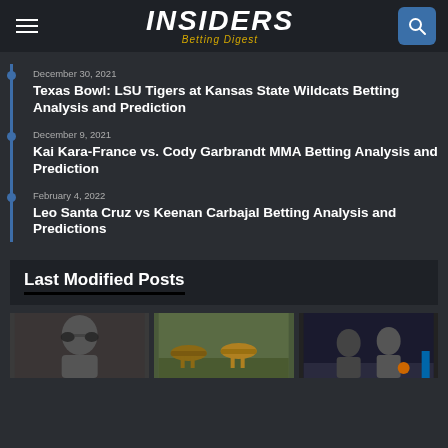INSIDERS Betting Digest
December 30, 2021 — Texas Bowl: LSU Tigers at Kansas State Wildcats Betting Analysis and Prediction
December 9, 2021 — Kai Kara-France vs. Cody Garbrandt MMA Betting Analysis and Prediction
February 4, 2022 — Leo Santa Cruz vs Keenan Carbajal Betting Analysis and Predictions
Last Modified Posts
[Figure (photo): Three thumbnail images showing sports-related photos: a person with sunglasses, a horse racing scene, and a basketball game scene]